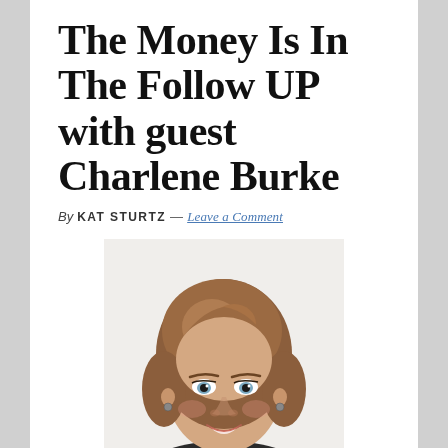The Money Is In The Follow UP with guest Charlene Burke
By KAT STURTZ — Leave a Comment
[Figure (photo): Professional headshot of Charlene Burke, a woman with medium-length brown hair, smiling, wearing earrings, against a white background.]